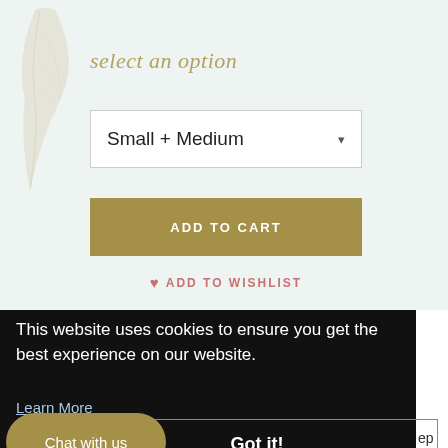select an option
Small + Medium
ADD TO CART
ADD TO WISHLIST
This website uses cookies to ensure you get the best experience on our website.
Learn More
Got it!
Chat with us